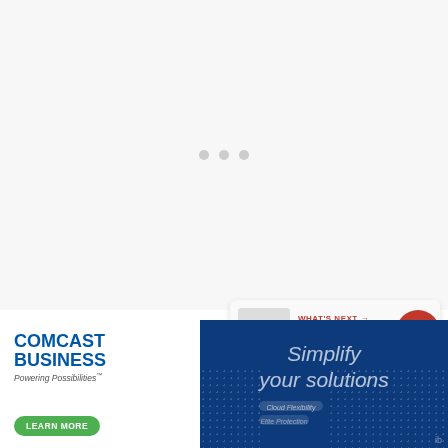[Figure (photo): Large image placeholder area with three loading dots in the center, occupying the top portion of the page]
[Figure (infographic): Floating UI element showing a like button (red circle with heart icon), a count of 7, and a share button]
[Figure (screenshot): What's Next box: thumbnail image on left, label 'WHAT'S NEXT →', title 'Best Speaker Placement...']
In this way, you will design a high impedance input summing amplifier to add the two signals before the final p...
[Figure (screenshot): Ad banner: Comcast Business 'Powering Possibilities' with Learn More button on left; 'Simplify your solutions' on dark blue right panel with dots pattern]